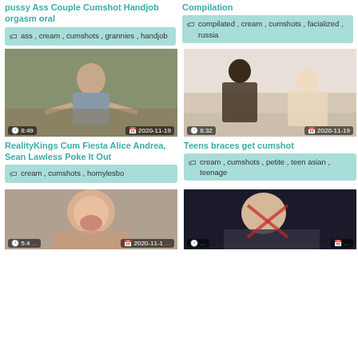pussy Ass Couple Cumshot Handjob orgasm oral
ass , cream , cumshots , grannies , handjob
Compilation
compilated , cream , cumshots , facialized , russia
[Figure (photo): Video thumbnail showing a woman on a couch, duration 8:49, date 2020-11-19]
RealityKings Cum Fiesta Alice Andrea, Sean Lawless Poke It Out
cream , cumshots , hornylesbo
[Figure (photo): Video thumbnail showing two people on a couch, duration 8:32, date 2020-11-19]
Teens braces get cumshot
cream , cumshots , petite , teen asian , teenage
[Figure (photo): Video thumbnail, partial view at bottom of page]
[Figure (photo): Video thumbnail, partial view at bottom of page]